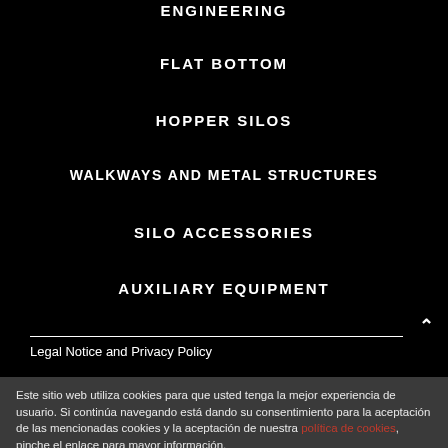ENGINEERING
FLAT BOTTOM
HOPPER SILOS
WALKWAYS AND METAL STRUCTURES
SILO ACCESSORIES
AUXILIARY EQUIPMENT
Legal Notice and Privacy Policy
Este sitio web utiliza cookies para que usted tenga la mejor experiencia de usuario. Si continúa navegando está dando su consentimiento para la aceptación de las mencionadas cookies y la aceptación de nuestra política de cookies, pinche el enlace para mayor información.
ACEPTAR